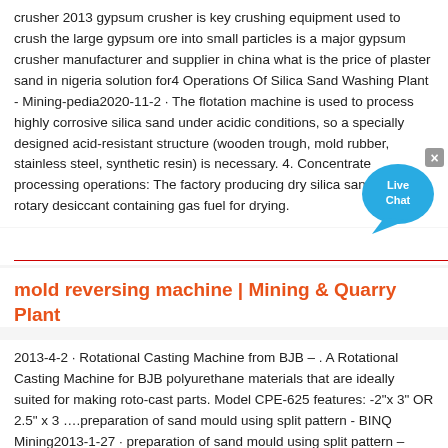crusher 2013 gypsum crusher is key crushing equipment used to crush the large gypsum ore into small particles is a major gypsum crusher manufacturer and supplier in china what is the price of plaster sand in nigeria solution for4 Operations Of Silica Sand Washing Plant - Mining-pedia2020-11-2 · The flotation machine is used to process highly corrosive silica sand under acidic conditions, so a specially designed acid-resistant structure (wooden trough, mold rubber, stainless steel, synthetic resin) is necessary. 4. Concentrate processing operations: The factory producing dry silica sand uses rotary desiccant containing gas fuel for drying.
[Figure (other): Live Chat bubble icon with blue speech bubble and white text 'Live Chat', with a grey close/X button in the top right corner]
mold reversing machine | Mining & Quarry Plant
2013-4-2 · Rotational Casting Machine from BJB – . A Rotational Casting Machine for BJB polyurethane materials that are ideally suited for making roto-cast parts. Model CPE-625 features: -2"x 3" OR 2.5" x 3 ….preparation of sand mould using split pattern - BINQ Mining2013-1-27 · preparation of sand mould using split pattern – Grinding Mill …. Sand Casting Process, Defects, Design –